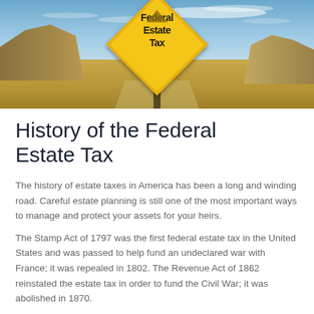[Figure (photo): A yellow diamond-shaped road sign reading 'Federal Estate Tax' with an upward arrow, set against a desert landscape with rocky hills and blue sky.]
History of the Federal Estate Tax
The history of estate taxes in America has been a long and winding road. Careful estate planning is still one of the most important ways to manage and protect your assets for your heirs.
The Stamp Act of 1797 was the first federal estate tax in the United States and was passed to help fund an undeclared war with France; it was repealed in 1802. The Revenue Act of 1862 reinstated the estate tax in order to fund the Civil War; it was abolished in 1870.